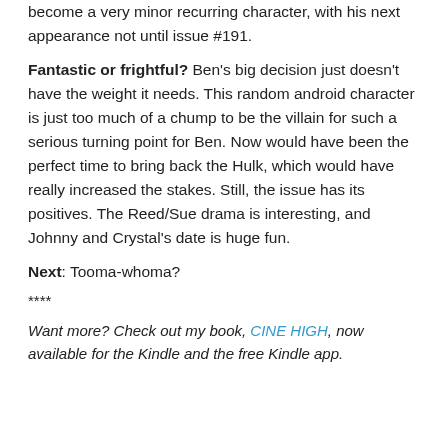become a very minor recurring character, with his next appearance not until issue #191.
Fantastic or frightful? Ben's big decision just doesn't have the weight it needs. This random android character is just too much of a chump to be the villain for such a serious turning point for Ben. Now would have been the perfect time to bring back the Hulk, which would have really increased the stakes. Still, the issue has its positives. The Reed/Sue drama is interesting, and Johnny and Crystal's date is huge fun.
Next: Tooma-whoma?
****
Want more? Check out my book, CINE HIGH, now available for the Kindle and the free Kindle app.